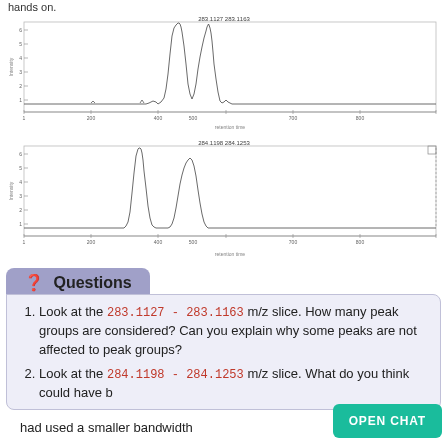hands on.
[Figure (continuous-plot): Mass spectrometry chromatogram plot (top): shows intensity vs retention time with a sharp cluster of peaks around 450, annotated with '283.1127 283.1163' at top. X-axis tick marks at approximately 1, 200, 400, 500, 700, 800.]
[Figure (continuous-plot): Mass spectrometry chromatogram plot (bottom): shows intensity vs retention time with two peak clusters around 400 and 450, annotated with '284.1198 284.1253' at top. X-axis tick marks similar to top chart.]
Questions
Look at the 283.1127 - 283.1163 m/z slice. How many peak groups are considered? Can you explain why some peaks are not affected to peak groups?
Look at the 284.1198 - 284.1253 m/z slice. What do you think could have had used a smaller bandwidth
OPEN CHAT